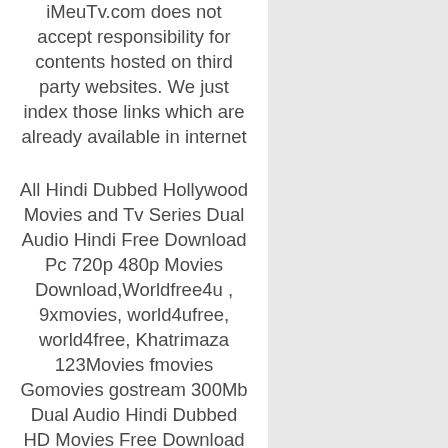iMeuTv.com does not accept responsibility for contents hosted on third party websites. We just index those links which are already available in internet
All Hindi Dubbed Hollywood Movies and Tv Series Dual Audio Hindi Free Download Pc 720p 480p Movies Download,Worldfree4u , 9xmovies, world4ufree, world4free, Khatrimaza 123Movies fmovies Gomovies gostream 300Mb Dual Audio Hindi Dubbed HD Movies Free Download Korean Drama Series in Hindi + Anime English Dub 720p Bollywood Movies Download, 720p Hollywood Hindi Dubbed Movies